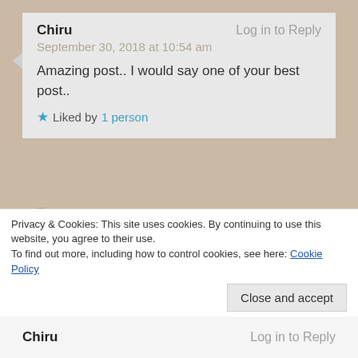Chiru — Log in to Reply
September 30, 2018 at 10:54 am

Amazing post.. I would say one of your best post..

★ Liked by 1 person
Neha Sharma — Log in to Reply
October 1, 2018 at 9:40 am

Thank you for such a kind compliment. I am
Privacy & Cookies: This site uses cookies. By continuing to use this website, you agree to their use.
To find out more, including how to control cookies, see here: Cookie Policy
Close and accept
Chiru — Log in to Reply